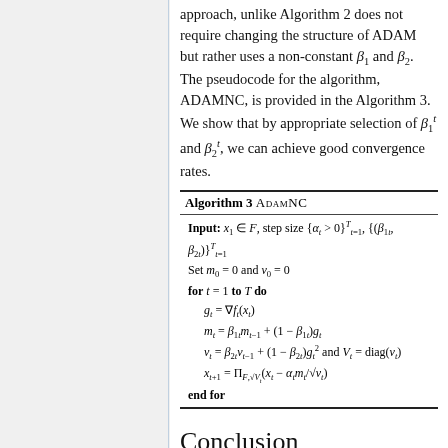approach, unlike Algorithm 2 does not require changing the structure of ADAM but rather uses a non-constant β₁ and β₂. The pseudocode for the algorithm, ADAMNC, is provided in the Algorithm 3. We show that by appropriate selection of β₁ᵗ and β₂ᵗ, we can achieve good convergence rates.
[Figure (other): Algorithm 3 ADAMNC pseudocode box. Input: x₁ ∈ F, step size {αt > 0}^T_{t=1}, {(β₁t, β₂t)}^T_{t=1}. Set m₀ = 0 and v₀ = 0. for t = 1 to T do: g_t = ∇f_t(x_t); m_t = β₁t m_{t-1} + (1−β₁t)g_t; v_t = β₂t v_{t-1} + (1−β₂t)g_t² and V_t = diag(v_t); x_{t+1} = Π_{F,√V_t}(x_t − αt m_t / √v_t). end for]
Conclusion
The authors have introduced a framework for which they could view several different training algorithms.